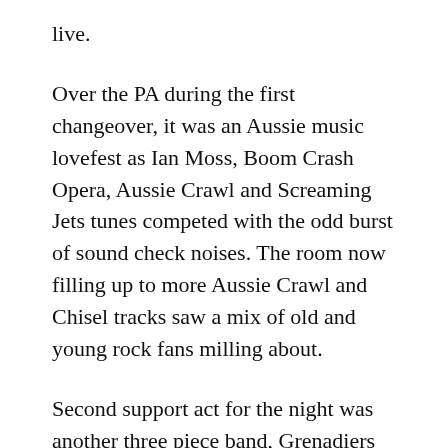live.
Over the PA during the first changeover, it was an Aussie music lovefest as Ian Moss, Boom Crash Opera, Aussie Crawl and Screaming Jets tunes competed with the odd burst of sound check noises. The room now filling up to more Aussie Crawl and Chisel tracks saw a mix of old and young rock fans milling about.
Second support act for the night was another three piece band, Grenadiers from Adelaide who opened with their very QOTSA influenced track ‘Summer’, and didn’t they like to crack jokes between songs. Whether it was self-deprecating humour from their front man and